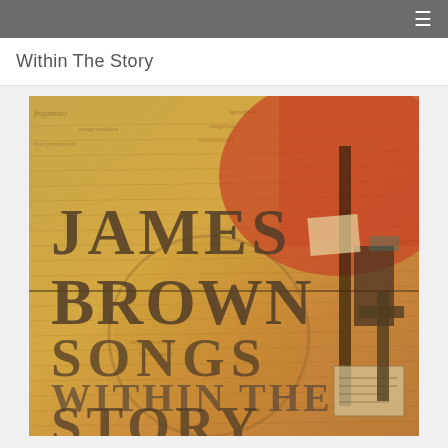≡
Within The Story
[Figure (illustration): Album artwork for James Brown 'Songs Within The Story' — a mixed-media collage artwork with warm golden-yellow and red-orange tones, overlaid with handwritten text/script, featuring bold serif text reading 'JAMES BROWN', 'SONGS', 'WITHIN THE STORY' layered over a collage of newspaper clippings, musical instrument silhouettes, and aged paper textures]